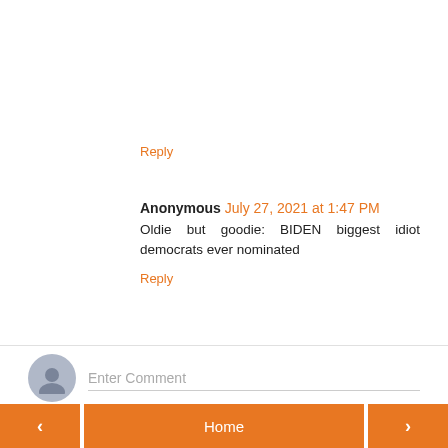Reply
Anonymous July 27, 2021 at 1:47 PM
Oldie but goodie: BIDEN biggest idiot democrats ever nominated
Reply
Enter Comment
< Home >